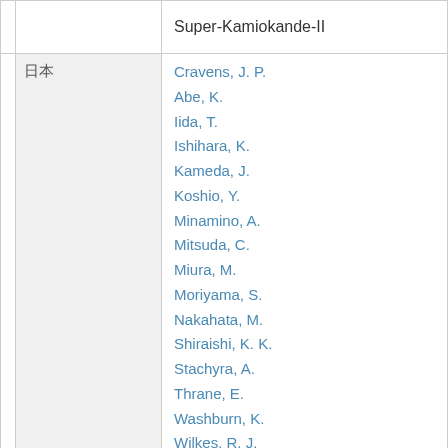|  |  | Super-Kamiokande-II |
| --- | --- | --- |
|  | 日本 | Cravens, J. P.
Abe, K.
Iida, T.
Ishihara, K.
Kameda, J.
Koshio, Y.
Minamino, A.
Mitsuda, C.
Miura, M.
Moriyama, S.
Nakahata, M.
Shiraishi, K. K.
Stachyra, A.
Thrane, E.
Washburn, K.
Wilkes, R. J.
Shiozawa, M.
Suzuki, Y.
Takeda, A.
Takeuchi, Y.
Ueshima, K. |